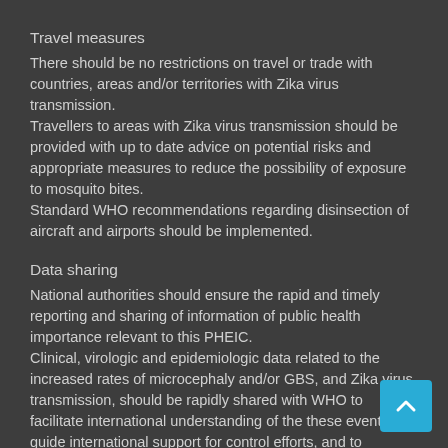Travel measures
There should be no restrictions on travel or trade with countries, areas and/or territories with Zika virus transmission.
Travellers to areas with Zika virus transmission should be provided with up to date advice on potential risks and appropriate measures to reduce the possibility of exposure to mosquito bites.
Standard WHO recommendations regarding disinsection of aircraft and airports should be implemented.
Data sharing
National authorities should ensure the rapid and timely reporting and sharing of information of public health importance relevant to this PHEIC.
Clinical, virologic and epidemiologic data related to the increased rates of microcephaly and/or GBS, and Zika virus transmission, should be rapidly shared with WHO to facilitate international understanding of the these events, to guide international support for control efforts, and to prioritize further research and product development.